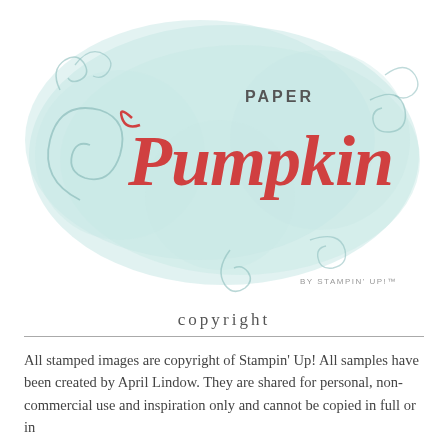[Figure (logo): Paper Pumpkin by Stampin' Up! logo. A light mint/teal cloud-like blob shape with decorative swirls in the background. The word 'PAPER' in small dark text and 'Pumpkin' in large red/coral hand-lettered script. 'BY STAMPIN' UP!' in small gray text at the bottom right.]
copyright
All stamped images are copyright of Stampin' Up! All samples have been created by April Lindow. They are shared for personal, non-commercial use and inspiration only and cannot be copied in full or in